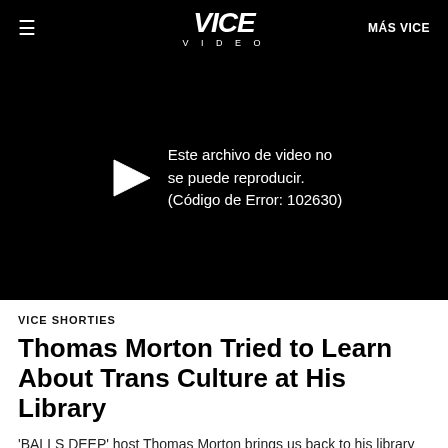≡  VICE VIDEO  MÁS VICE
[Figure (screenshot): Black video player area showing a video playback error. A play arrow icon is visible on the left, and error text reads: 'Este archivo de video no se puede reproducir. (Código de Error: 102630)']
VICE SHORTIES
Thomas Morton Tried to Learn About Trans Culture at His Library
'BALLS DEEP' host Thomas Morton brings us back to his library to talk about the books he read before he immersed himself in